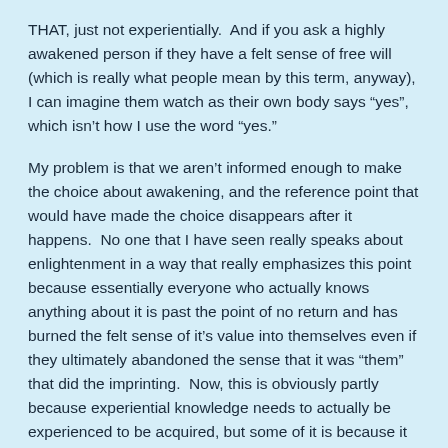THAT, just not experientially.  And if you ask a highly awakened person if they have a felt sense of free will (which is really what people mean by this term, anyway), I can imagine them watch as their own body says “yes”, which isn’t how I use the word “yes.”
My problem is that we aren’t informed enough to make the choice about awakening, and the reference point that would have made the choice disappears after it happens.  No one that I have seen really speaks about enlightenment in a way that really emphasizes this point because essentially everyone who actually knows anything about it is past the point of no return and has burned the felt sense of it’s value into themselves even if they ultimately abandoned the sense that it was “them” that did the imprinting.  Now, this is obviously partly because experiential knowledge needs to actually be experienced to be acquired, but some of it is because it is assumed that because most people respond well to such